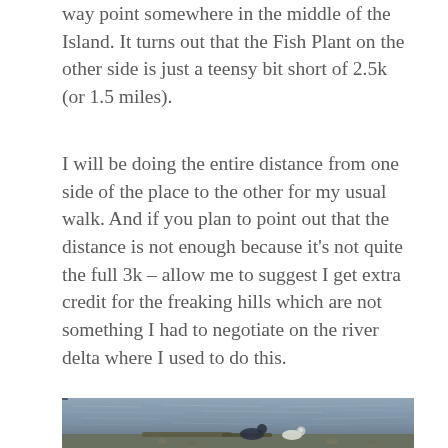way point somewhere in the middle of the Island. It turns out that the Fish Plant on the other side is just a teensy bit short of 2.5k (or 1.5 miles).
I will be doing the entire distance from one side of the place to the other for my usual walk. And if you plan to point out that the distance is not enough because it's not quite the full 3k – allow me to suggest I get extra credit for the freaking hills which are not something I had to negotiate on the river delta where I used to do this.
[Figure (photo): A photograph of a waterway or river delta with rippling grey-blue water and a shoreline with debris, driftwood, and what appear to be ducks or waterfowl at the bottom edge of the frame.]